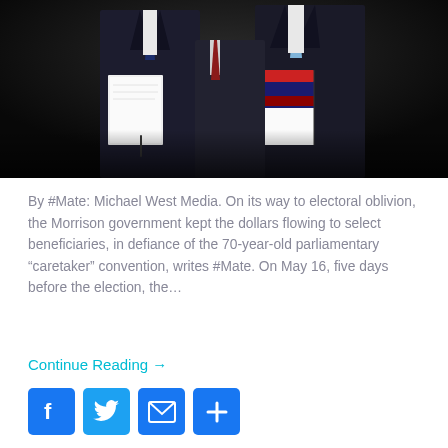[Figure (photo): Two men in dark suits walking, one holding white papers/documents, the other holding books/binders. Dark background. Political/parliamentary setting.]
By #Mate: Michael West Media. On its way to electoral oblivion, the Morrison government kept the dollars flowing to select beneficiaries, in defiance of the 70-year-old parliamentary “caretaker” convention, writes #Mate. On May 16, five days before the election, the…
Continue Reading →